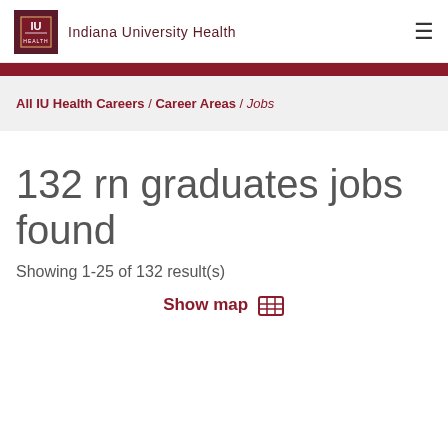Indiana University Health
All IU Health Careers / Career Areas / Jobs
132 rn graduates jobs found
Showing 1-25 of 132 result(s)
Show map